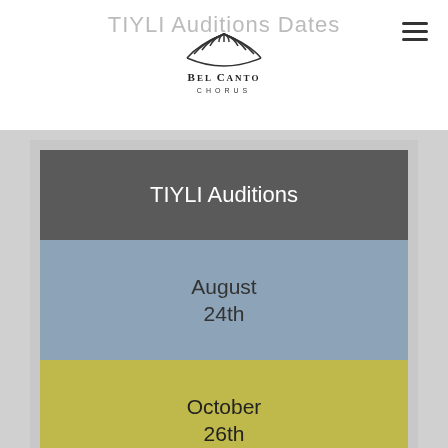TIYLI Auditions Dates
TIYLI Auditions
August 24th
October 26th
January 18th